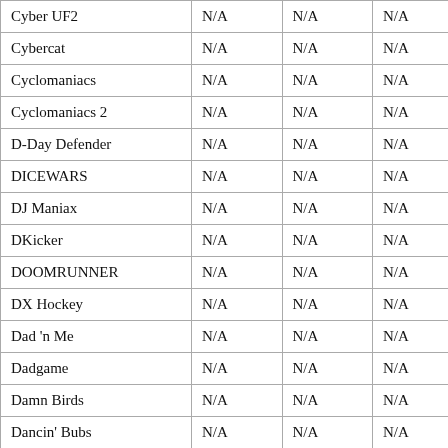| Cyber UF2 | N/A | N/A | N/A | N/A |
| Cybercat | N/A | N/A | N/A | N/A |
| Cyclomaniacs | N/A | N/A | N/A | N/A |
| Cyclomaniacs 2 | N/A | N/A | N/A | N/A |
| D-Day Defender | N/A | N/A | N/A | N/A |
| DICEWARS | N/A | N/A | N/A | N/A |
| DJ Maniax | N/A | N/A | N/A | N/A |
| DKicker | N/A | N/A | N/A | N/A |
| DOOMRUNNER | N/A | N/A | N/A | N/A |
| DX Hockey | N/A | N/A | N/A | N/A |
| Dad 'n Me | N/A | N/A | N/A | N/A |
| Dadgame | N/A | N/A | N/A | N/A |
| Damn Birds | N/A | N/A | N/A | N/A |
| Dancin' Bubs | N/A | N/A | N/A | N/A |
| Dancing Bush | N/A | N/A | N/A | N/A |
| Dangeresque: Behind the Dangerdesque | N/A | N/A | N/A | N/A |